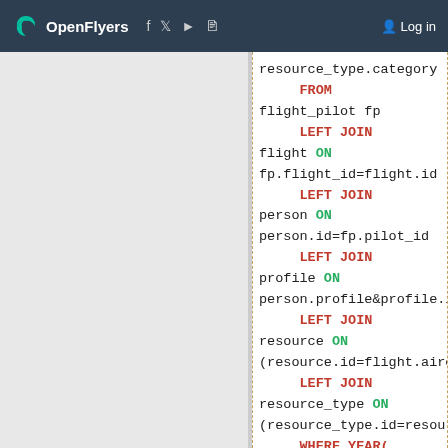OpenFlyers  Log in
resource_type.category
     FROM
flight_pilot fp
     LEFT JOIN
flight ON
fp.flight_id=flight.id
     LEFT JOIN
person ON
person.id=fp.pilot_id
     LEFT JOIN
profile ON
person.profile&profile.i
     LEFT JOIN
resource ON
(resource.id=flight.airc
     LEFT JOIN
resource_type ON
(resource_type.id=resour
     WHERE YEAR(
start_date )=$year
          AND fp.num=0
          AND
flight.airborne = 0
          AND (
profile.id IN
($profileId) OR '-'